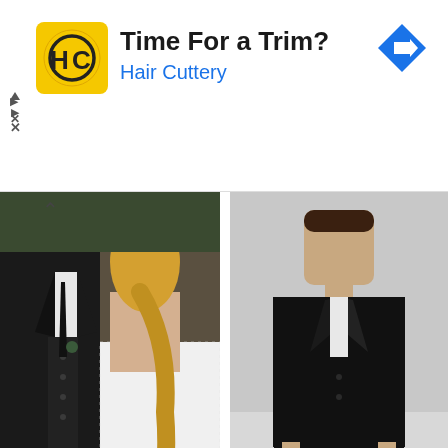[Figure (screenshot): Advertisement banner for Hair Cuttery with yellow HC logo, text 'Time For a Trim?' and 'Hair Cuttery' in blue, and a blue diamond navigation arrow icon on the right.]
[Figure (photo): Two photos side by side: left shows a man in a black three-piece suit with a woman in a white dress at a wedding; right shows a man standing in a black suit against a light grey background.]
[Figure (infographic): Twitter and Facebook social media icon circles in footer area.]
Contact Us
Copyright (C) 1998 to 2022 Games Bids Inc.
Powered by Invision Community